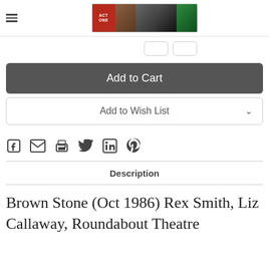Act One — logo strip with theatrical show images
Add to Cart
Add to Wish List
[Figure (other): Social sharing icons row: Facebook, Email, Print, Twitter, LinkedIn, Pinterest]
Description
Brown Stone (Oct 1986) Rex Smith, Liz Callaway, Roundabout Theatre